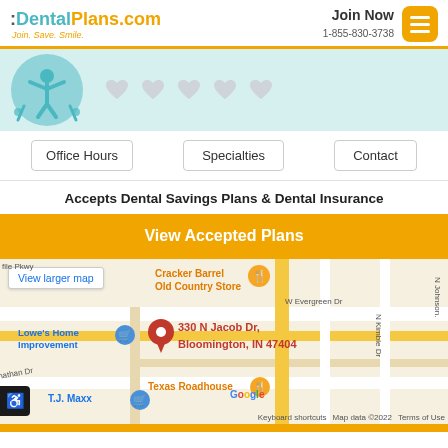DentalPlans.com — Join. Save. Smile. | Join Now 1-855-830-3738
[Figure (illustration): Banner with dental/person icon on teal background and five heart icons]
Office Hours
Specialties
Contact
Accepts Dental Savings Plans & Dental Insurance
View Accepted Plans
[Figure (map): Google map showing 330 N Jacob Dr, Bloomington, IN 47404. Nearby landmarks: Cracker Barrel Old Country Store, Lowe's Home Improvement, Texas Roadhouse, T.J. Maxx. Map data ©2022.]